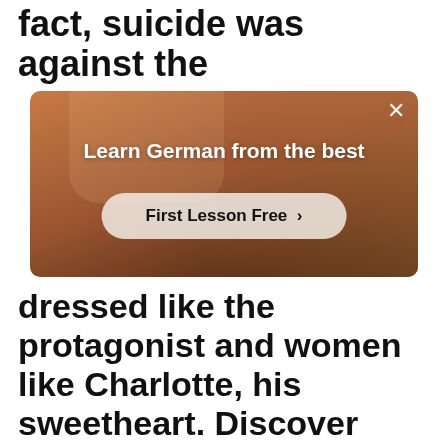fact, suicide was against the
[Figure (screenshot): Advertisement banner with dark warm-toned background showing a person in a red top. Text reads 'Learn German from the best' with a 'First Lesson Free >' button. Close (×) button in top right corner.]
dressed like the protagonist and women like Charlotte, his sweetheart. Discover German Thrillers with Süskind Writing Style Patrick Süskind is a contemporary German autho He was born in 1949 and studied at the University of Munich